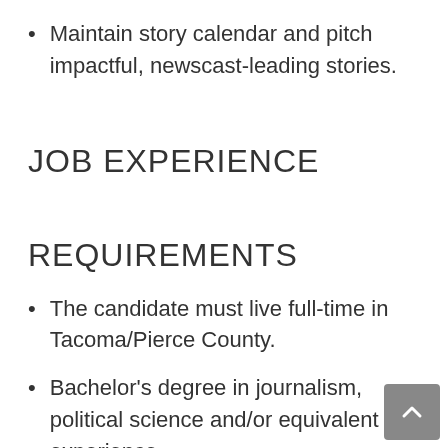Maintain story calendar and pitch impactful, newscast-leading stories.
JOB EXPERIENCE
REQUIREMENTS
The candidate must live full-time in Tacoma/Pierce County.
Bachelor's degree in journalism, political science and/or equivalent experience.
Five years or more years as a broadcast reporter in a large market or seven or more years in a mid or small market.
Track record of quality journalism and highest